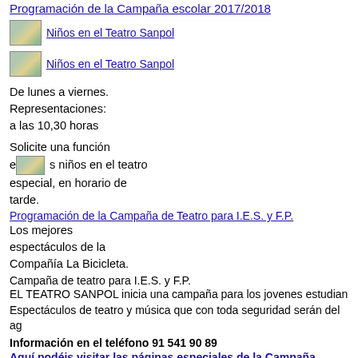Programación de la Campaña escolar 2017/2018
[Figure (photo): Niños en el Teatro Sanpol - image link 1]
[Figure (photo): Niños en el Teatro Sanpol - image link 2]
De lunes a viernes. Representaciones: a las 10,30 horas
Solicite una función especial, en horario de tarde.
[Figure (photo): Los niños en el teatro]
Programación de la Campaña de Teatro para I.E.S. y F.P.
Los mejores espectáculos de la Compañía La Bicicleta.
Campaña de teatro para I.E.S. y F.P.
EL TEATRO SANPOL inicia una campaña para los jovenes estudian...
Espectáculos de teatro y música que con toda seguridad serán del ag...
Información en el teléfono 91 541 90 89
Aquí podéis visitar las páginas especiales de la Campaña
Gracias por visitar nuestra página web